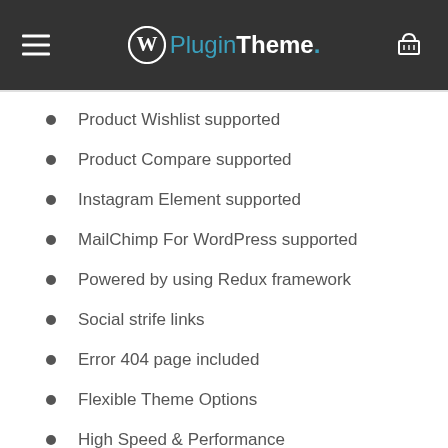WPPluginTheme
Product Wishlist supported
Product Compare supported
Instagram Element supported
MailChimp For WordPress supported
Powered by using Redux framework
Social strife links
Error 404 page included
Flexible Theme Options
High Speed & Performance
Customized because Online Store
SEO Optimized